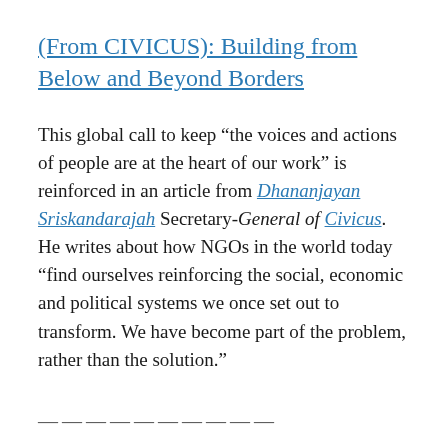(From CIVICUS): Building from Below and Beyond Borders
This global call to keep “the voices and actions of people are at the heart of our work” is reinforced in an article from Dhananjayan Sriskandarajah Secretary-General of Civicus. He writes about how NGOs in the world today “find ourselves reinforcing the social, economic and political systems we once set out to transform. We have become part of the problem, rather than the solution.”
——————————